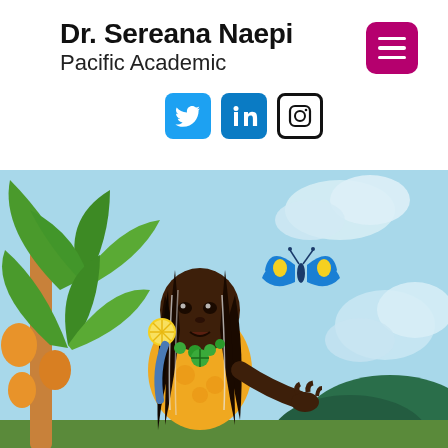Dr. Sereana Naepi
Pacific Academic
[Figure (illustration): Illustrated scene of a Pacific Islander girl with long dark hair, yellow dress, green necklace and earrings, surrounded by tropical plants and a blue butterfly, with a light blue sky and clouds in the background.]